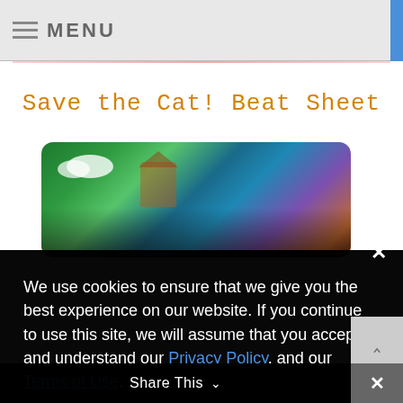≡ MENU
Save the Cat! Beat Sheet
[Figure (photo): Promotional movie image showing animated characters from Encanto in front of a magical colorful house on a hillside]
We use cookies to ensure that we give you the best experience on our website. If you continue to use this site, we will assume that you accept and understand our Privacy Policy, and our Terms of Use.
Decline
Accept
Share This ∨